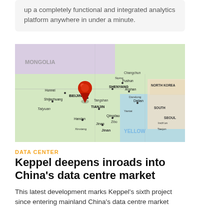up a completely functional and integrated analytics platform anywhere in under a minute.
[Figure (map): Map of northeastern China and surrounding region showing Beijing marked with a red location pin. Visible cities include Beijing, Tianjin, Shenyang, Dalian, Qingdao, Jinan, and others. North Korea and South Korea visible on right edge.]
DATA CENTER
Keppel deepens inroads into China's data centre market
This latest development marks Keppel's sixth project since entering mainland China's data centre market